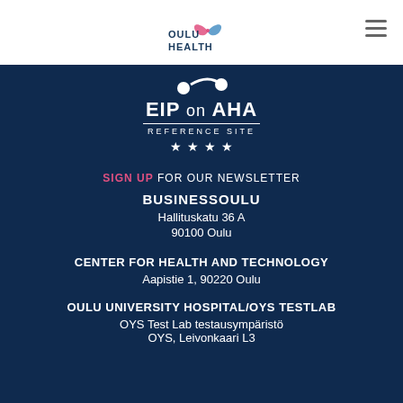[Figure (logo): Oulu Health logo with stylized butterfly/heart icon and text OULU HEALTH]
[Figure (logo): EIP on AHA Reference Site 4-star badge with decorative dots]
SIGN UP FOR OUR NEWSLETTER
BUSINESSOULU
Hallituskatu 36 A
90100 Oulu
CENTER FOR HEALTH AND TECHNOLOGY
Aapistie 1, 90220 Oulu
OULU UNIVERSITY HOSPITAL/OYS TESTLAB
OYS Test Lab testausympäristö
OYS, Leivonkaari L3